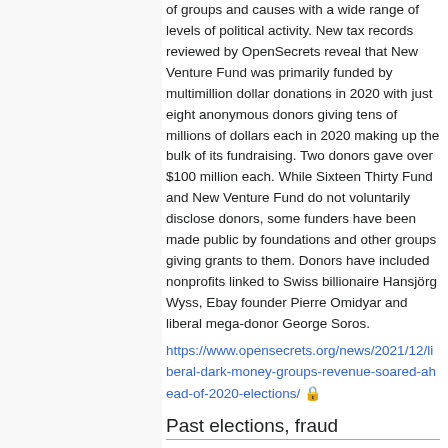of groups and causes with a wide range of levels of political activity. New tax records reviewed by OpenSecrets reveal that New Venture Fund was primarily funded by multimillion dollar donations in 2020 with just eight anonymous donors giving tens of millions of dollars each in 2020 making up the bulk of its fundraising. Two donors gave over $100 million each. While Sixteen Thirty Fund and New Venture Fund do not voluntarily disclose donors, some funders have been made public by foundations and other groups giving grants to them. Donors have included nonprofits linked to Swiss billionaire Hansjörg Wyss, Ebay founder Pierre Omidyar and liberal mega-donor George Soros.
https://www.opensecrets.org/news/2021/12/liberal-dark-money-groups-revenue-soared-ahead-of-2020-elections/ 🔒
Past elections, fraud
Pro-Trump Group Invented Voter Fraud Claims Months Before Election. A well-funded far-right group that is closely linked to Stop The Sto...